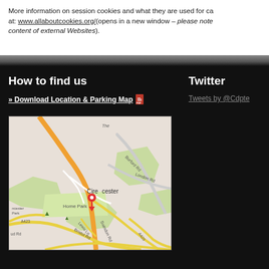More information on session cookies and what they are used for can be found at: www.allaboutcookies.org/(opens in a new window – please note content of external Websites).
How to find us
» Download Location & Parking Map
[Figure (map): Google map showing Cirencester town centre with a red location pin marker, surrounding roads including Burford Rd, London Rd, Swindon Rd, A429, A423, Bristol Rd, Lewis Ln, and green spaces including Home Park.]
Twitter
Tweets by @Cdpte